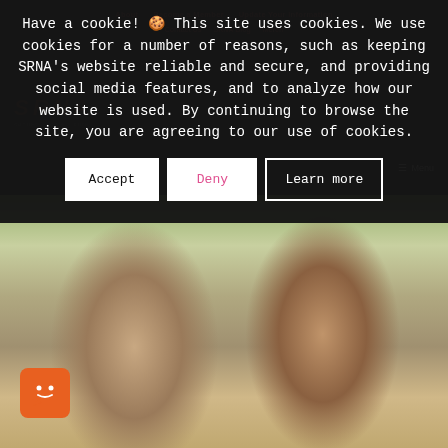About   Become a Member   Update Your Information
Contact Us   SRNA Blog   Merch
Have a cookie! 🍪 This site uses cookies. We use cookies for a number of reasons, such as keeping SRNA's website reliable and secure, and providing social media features, and to analyze how our website is used. By continuing to browse the site, you are agreeing to our use of cookies.
Accept
Deny
Learn more
[Figure (photo): A smiling couple outdoors; man on left with brown hair, woman on right with long dark hair, green bokeh background]
[Figure (logo): Orange chat widget with smiley face icon in bottom left corner]